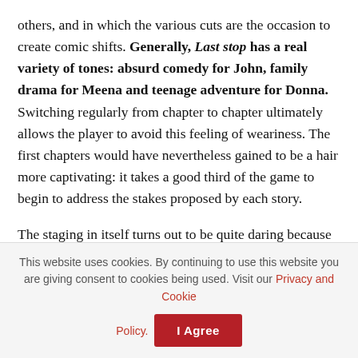others, and in which the various cuts are the occasion to create comic shifts. Generally, Last stop has a real variety of tones: absurd comedy for John, family drama for Meena and teenage adventure for Donna. Switching regularly from chapter to chapter ultimately allows the player to avoid this feeling of weariness. The first chapters would have nevertheless gained to be a hair more captivating: it takes a good third of the game to begin to address the stakes proposed by each story.
The staging in itself turns out to be quite daring because even if the environments (almost all urban) are only renewed very little over the chapters, each time the game offers very different plans, whether indoors or outdoors. So much so that a can be
This website uses cookies. By continuing to use this website you are giving consent to cookies being used. Visit our Privacy and Cookie Policy.